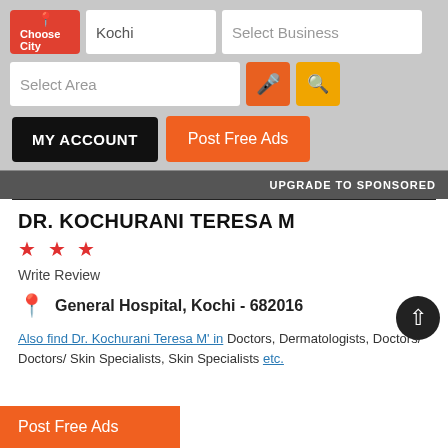[Figure (screenshot): Mobile app UI header with Choose City button, Kochi search field, Select Business field, Select Area field, microphone and search buttons]
MY ACCOUNT
Post Free Ads
UPGRADE TO SPONSORED
DR. KOCHURANI TERESA M
★ ★ ★
Write Review
General Hospital, Kochi - 682016
Also find Dr. Kochurani Teresa M' in Doctors, Dermatologists, Doctors/ Doctors/ Skin Specialists, Skin Specialists etc.
Post Free Ads